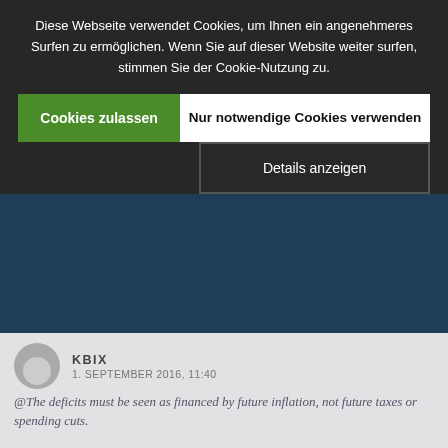[Figure (screenshot): Cookie consent overlay on a dark background with three buttons: 'Cookies zulassen' (green), 'Nur notwendige Cookies verwenden' (white), and 'Details anzeigen' (dark). Background shows blurred website content in dark blue.]
Diese Webseite verwendet Cookies, um Ihnen ein angenehmeres Surfen zu ermöglichen. Wenn Sie auf dieser Website weiter surfen, stimmen Sie der Cookie-Nutzung zu.
Cookies zulassen
Nur notwendige Cookies verwenden
Details anzeigen
KBIX
1. SEPTEMBER 2016, 11:40
@The deficits must be seen as financed by future inflation, not future taxes or spending cuts.
woher soll diese Inflation in einer sich ständig optimierenden von Überkapazitäten gekennzeichneten Wirtschaft kommen? Für das menschliche Glück gibt es kein materielles